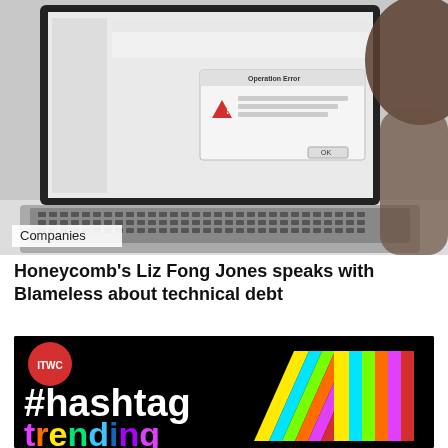[Figure (photo): Person looking at laptop screen showing an Operation Error dialog box]
Companies
Honeycomb's Liz Fong Jones speaks with Blameless about technical debt
[Figure (logo): ITWC #hashtag trending logo on black background with colorful chevron/arrow logo on the right]